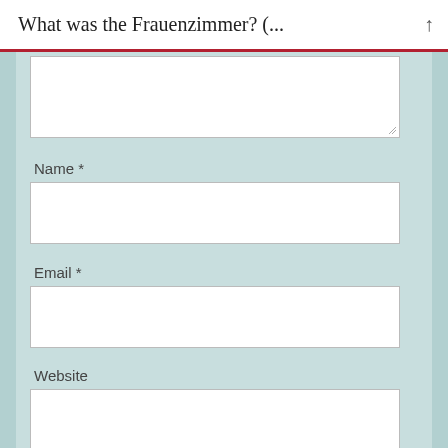What was the Frauenzimmer? (...
Name *
Email *
Website
Notify me of follow-up comments by email.